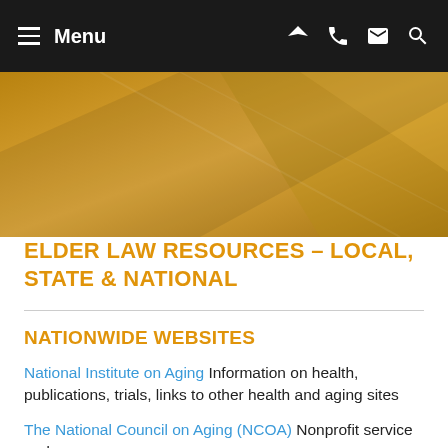Menu
[Figure (illustration): Golden/yellow abstract diagonal banner hero image with geometric shapes]
ELDER LAW RESOURCES – LOCAL, STATE & NATIONAL
NATIONWIDE WEBSITES
National Institute on Aging Information on health, publications, trials, links to other health and aging sites
The National Council on Aging (NCOA) Nonprofit service and